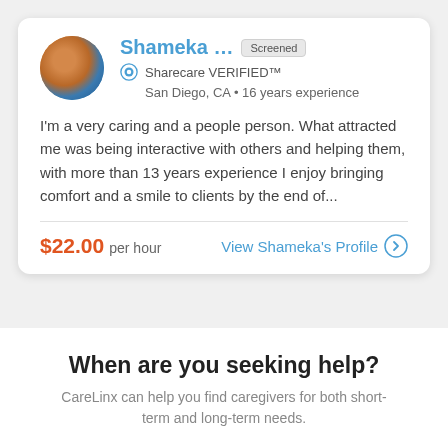Shameka ...
Screened
Sharecare VERIFIED™
San Diego, CA • 16 years experience
I'm a very caring and a people person. What attracted me was being interactive with others and helping them, with more than 13 years experience I enjoy bringing comfort and a smile to clients by the end of...
$22.00 per hour
View Shameka's Profile
When are you seeking help?
CareLinx can help you find caregivers for both short-term and long-term needs.